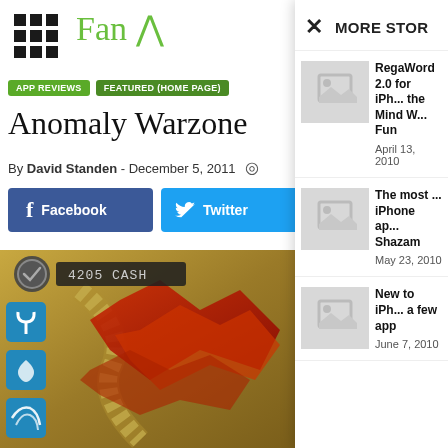Fan [logo]
APP REVIEWS | FEATURED (HOME PAGE)
Anomaly Warzone
By David Standen - December 5, 2011
Facebook Twitter
[Figure (screenshot): Game screenshot showing Anomaly Warzone Earth gameplay with HUD elements: 4205 CASH, side icon buttons in blue, and colorful battle scene]
MORE STOR
RegaWord 2.0 for iPh... the Mind W... Fun
April 13, 2010
The most ... iPhone ap... Shazam
May 23, 2010
New to iPh... a few app
June 7, 2010